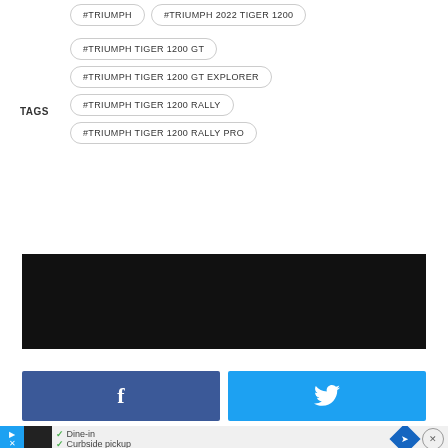#TRIUMPH
#TRIUMPH 2022 TIGER 1200
#TRIUMPH TIGER 1200 GT
TAGS
#TRIUMPH TIGER 1200 GT EXPLORER
#TRIUMPH TIGER 1200 RALLY
#TRIUMPH TIGER 1200 RALLY PRO
[Figure (other): Black banner/advertisement area]
[Figure (other): Facebook share button (dark blue with f icon)]
[Figure (other): Twitter share button (light blue with bird icon)]
[Figure (other): Bottom advertisement banner with Dine-in and Curbside pickup text]